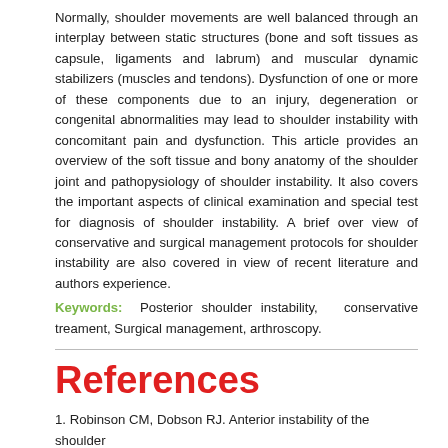Normally, shoulder movements are well balanced through an interplay between static structures (bone and soft tissues as capsule, ligaments and labrum) and muscular dynamic stabilizers (muscles and tendons). Dysfunction of one or more of these components due to an injury, degeneration or congenital abnormalities may lead to shoulder instability with concomitant pain and dysfunction. This article provides an overview of the soft tissue and bony anatomy of the shoulder joint and pathopysiology of shoulder instability. It also covers the important aspects of clinical examination and special test for diagnosis of shoulder instability. A brief over view of conservative and surgical management protocols for shoulder instability are also covered in view of recent literature and authors experience.
Keywords: Posterior shoulder instability, conservative treament, Surgical management, arthroscopy.
References
1. Robinson CM, Dobson RJ. Anterior instability of the shoulder